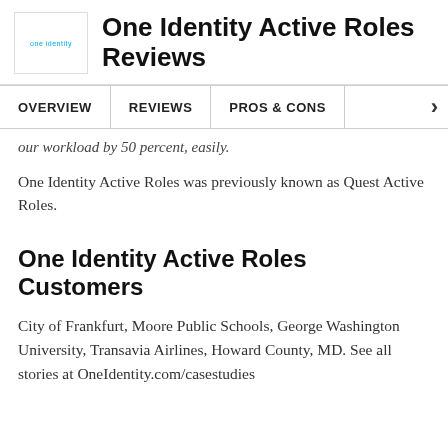One Identity Active Roles Reviews
OVERVIEW | REVIEWS | PROS & CONS
our workload by 50 percent, easily.
One Identity Active Roles was previously known as Quest Active Roles.
One Identity Active Roles Customers
City of Frankfurt, Moore Public Schools, George Washington University, Transavia Airlines, Howard County, MD. See all stories at OneIdentity.com/casestudies